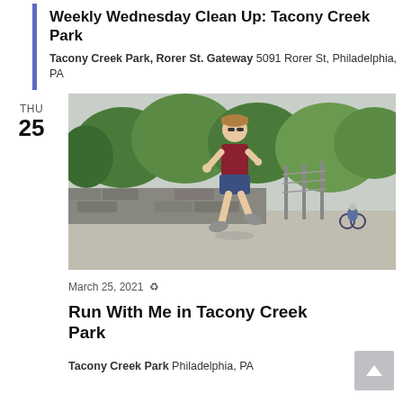Weekly Wednesday Clean Up: Tacony Creek Park
Tacony Creek Park, Rorer St. Gateway 5091 Rorer St, Philadelphia, PA
THU
25
[Figure (photo): Person in maroon t-shirt and blue shorts running in a park path with stone wall and trees in background]
March 25, 2021 ♻
Run With Me in Tacony Creek Park
Tacony Creek Park Philadelphia, PA